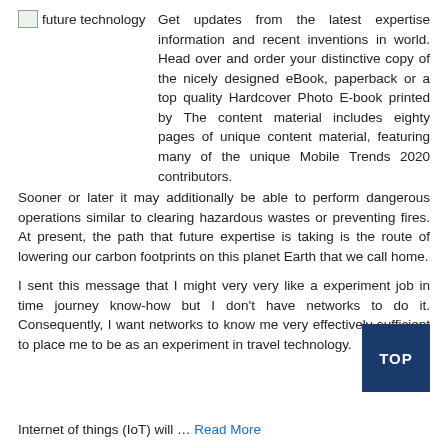[Figure (logo): Small image placeholder icon labeled 'future technology']
Get updates from the latest expertise information and recent inventions in world. Head over and order your distinctive copy of the nicely designed eBook, paperback or a top quality Hardcover Photo E-book printed by The content material includes eighty pages of unique content material, featuring many of the unique Mobile Trends 2020 contributors.
Sooner or later it may additionally be able to perform dangerous operations similar to clearing hazardous wastes or preventing fires. At present, the path that future expertise is taking is the route of lowering our carbon footprints on this planet Earth that we call home.
I sent this message that I might very very like a experiment job in time journey know-how but I don't have networks to do it. Consequently, I want networks to know me very effectively sufficient to place me to be as an experiment in travel technology.
Internet of things (IoT) will … Read More